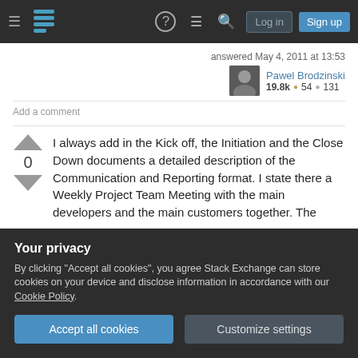Stack Exchange navigation bar with hamburger menu, logo, help, chat, search icons, Log in and Sign up buttons
answered May 4, 2011 at 13:53
Pawel Brodzinski 19.8k • 54 • 131
Add a comment
I always add in the Kick off, the Initiation and the Close Down documents a detailed description of the Communication and Reporting format. I state there a Weekly Project Team Meeting with the main developers and the main customers together. The
Your privacy
By clicking "Accept all cookies", you agree Stack Exchange can store cookies on your device and disclose information in accordance with our Cookie Policy.
Accept all cookies
Customize settings